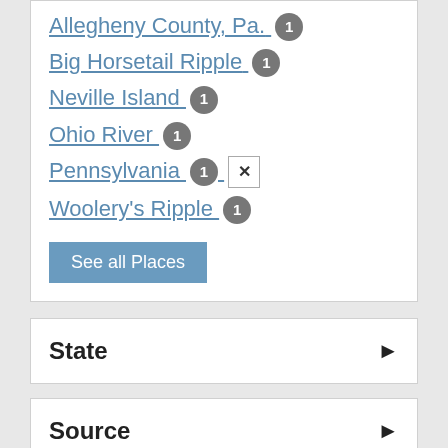Allegheny County, Pa. 1
Big Horsetail Ripple 1
Neville Island 1
Ohio River 1
Pennsylvania 1 [remove]
Woolery's Ripple 1
See all Places
State
Source
Publisher